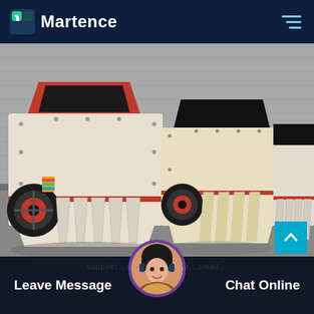Martence
[Figure (photo): Photograph of industrial impact crusher machines parked outdoors on a concrete surface, showing multiple white and cream-colored heavy crushers with red trim accents and black openings, in front of a corrugated metal warehouse wall.]
Leave Message
Chat Online